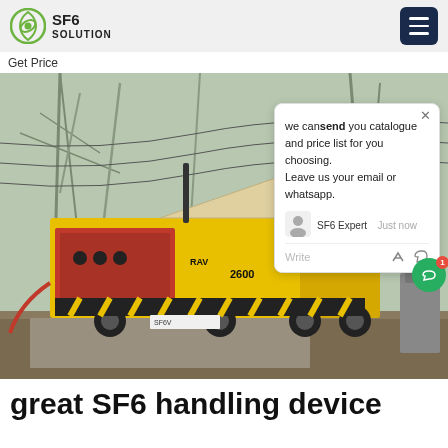SF6 SOLUTION
Get Price
[Figure (photo): Yellow SF6 gas handling truck/service vehicle parked at an electrical substation with large overhead power line structures and transformers in the background. Vehicle shows markings 'RAV 2600'. Industrial electrical equipment visible.]
we can send you catalogue and price list for you choosing. Leave us your email or whatsapp.
great SF6 handling device